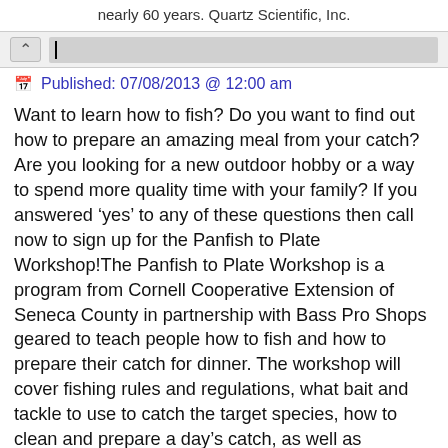nearly 60 years. Quartz Scientific, Inc.
Published: 07/08/2013 @ 12:00 am
Want to learn how to fish? Do you want to find out how to prepare an amazing meal from your catch? Are you looking for a new outdoor hobby or a way to spend more quality time with your family? If you answered ‘yes’ to any of these questions then call now to sign up for the Panfish to Plate Workshop!The Panfish to Plate Workshop is a program from Cornell Cooperative Extension of Seneca County in partnership with Bass Pro Shops geared to teach people how to fish and how to prepare their catch for dinner. The workshop will cover fishing rules and regulations, what bait and tackle to use to catch the target species, how to clean and prepare a day’s catch, as well as nutritional benefits to eating fish and fish health advisories. With this knowledge, it’s easier for families to spend time putting food on the table together and sharing healthy and tasty meals. Members from Cornell Cooperative Extension of Seneca County